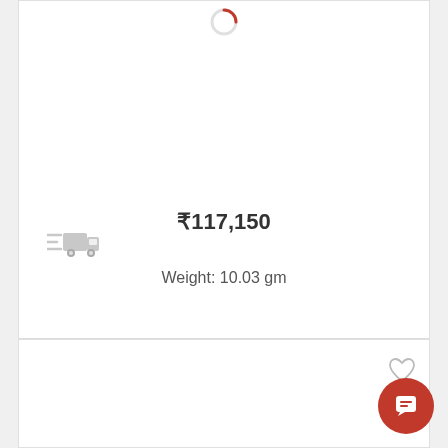[Figure (other): Red circular loading spinner at top of product card]
[Figure (other): Gray delivery truck icon on left side of product card]
₹117,150
Weight: 10.03 gm
[Figure (other): Gray heart/wishlist icon in upper right of second card]
[Figure (other): Red circular chat button with message icon in bottom right corner]